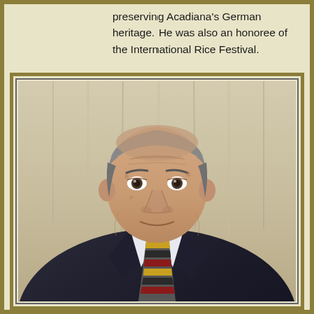preserving Acadiana's German heritage. He was also an honoree of the International Rice Festival.
[Figure (photo): Portrait photograph of an elderly man wearing a dark suit jacket and a multicolored striped tie with red and gold tones, standing in front of a light-colored curtain background.]